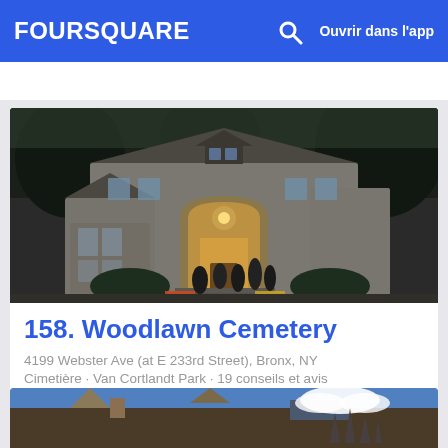FOURSQUARE  Ouvrir dans l'app
[Figure (photo): Exterior photo of Woodlawn Cemetery building at dusk — a stone Victorian mansion with arched entrance, lit from inside, with visitors gathered at the door and colorful flowers in foreground.]
158. Woodlawn Cemetery
4199 Webster Ave (at E 233rd Street), Bronx, NY
Cimetière · Van Cortlandt Park · 19 conseils et avis
[Figure (photo): Partial view of another location card at the bottom of the page — appears to show an architectural or outdoor scene with blue sky.]